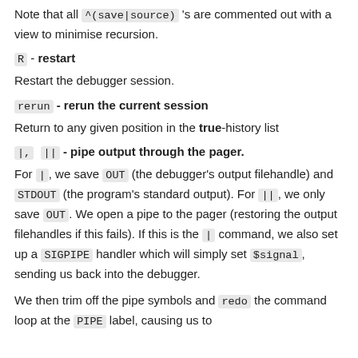Note that all ^(save|source) 's are commented out with a view to minimise recursion.
R - restart
Restart the debugger session.
rerun - rerun the current session
Return to any given position in the true-history list
|, || - pipe output through the pager.
For |, we save OUT (the debugger's output filehandle) and STDOUT (the program's standard output). For ||, we only save OUT. We open a pipe to the pager (restoring the output filehandles if this fails). If this is the | command, we also set up a SIGPIPE handler which will simply set $signal, sending us back into the debugger.
We then trim off the pipe symbols and redo the command loop at the PIPE label, causing us to